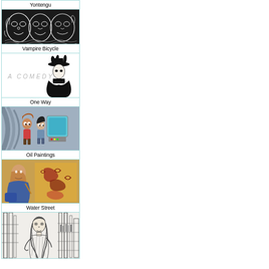[Figure (illustration): Card titled Yontengu with black and white tribal mask illustration]
[Figure (illustration): Card titled Vampire Bicycle with A COMEDY text and gothic figure illustration]
[Figure (illustration): Card titled One Way with animated style two characters scene]
[Figure (illustration): Card titled Oil Paintings with photo of artist painting]
[Figure (illustration): Card titled Water Street with black and white sketch of woman]